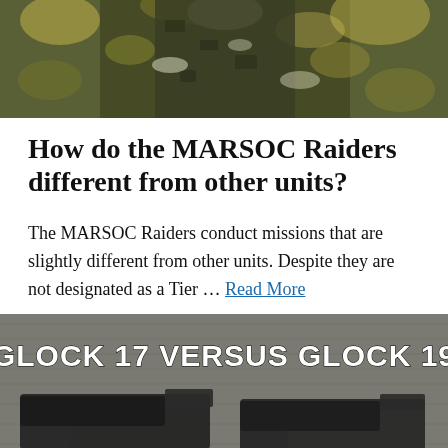[Figure (photo): Soldier in camouflage gear outdoors with foliage in the background]
How do the MARSOC Raiders different from other units?
The MARSOC Raiders conduct missions that are slightly different from other units. Despite they are not designated as a Tier … Read More
[Figure (photo): Two handguns side by side on a wooden surface with white bold text overlay reading GLOCK 17 VERSUS GLOCK 19]